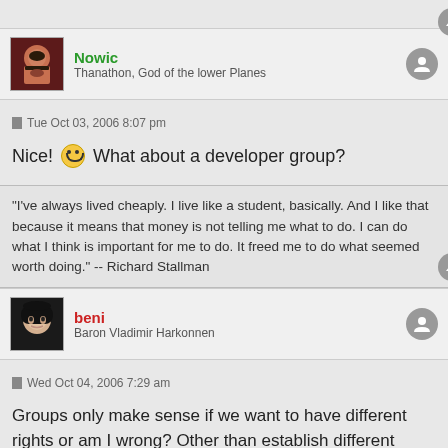Nowic
Thanathon, God of the lower Planes
Tue Oct 03, 2006 8:07 pm
Nice! What about a developer group?
"I've always lived cheaply. I live like a student, basically. And I like that because it means that money is not telling me what to do. I can do what I think is important for me to do. It freed me to do what seemed worth doing." -- Richard Stallman
beni
Baron Vladimir Harkonnen
Wed Oct 04, 2006 7:29 am
Groups only make sense if we want to have different rights or am I wrong? Other than establish different rights for different groups nothing can be done. Of course we can make a